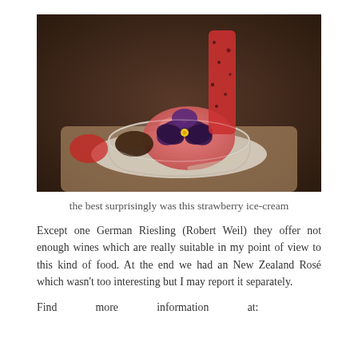[Figure (photo): A dessert photo showing a glass bowl with strawberry ice-cream topped with a purple pansy flower, a dark chocolate piece, and a red tuile/wafer stick, served on a white doily on a wooden board.]
the best surprisingly was this strawberry ice-cream
Except one German Riesling (Robert Weil) they offer not enough wines which are really suitable in my point of view to this kind of food. At the end we had an New Zealand Rosé which wasn't too interesting but I may report it separately.
Find more information at: